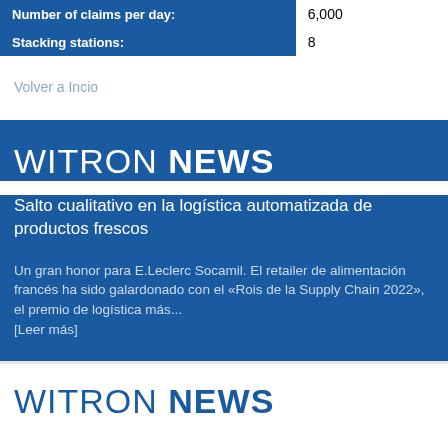| Number of claims per day: | 6,000 |
| --- | --- |
| Stacking stations: | 8 |
Volver a Incio
WITRON NEWS
Salto cualitativo en la logística automatizada de productos frescos
Un gran honor para E.Leclerc Socamil. El retailer de alimentación francés ha sido galardonado con el «Rois de la Supply Chain 2022», el premio de logística más...
[Leer más]
WITRON NEWS